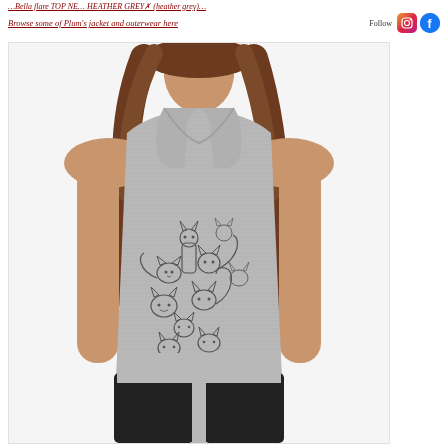Browse some of Plum's jacket and outerwear here
Follow
[Figure (photo): Woman wearing a grey heather racerback tank top with a graphic print of many cartoon cats in black ink on the front, paired with black leggings. The model has long wavy brown hair.]